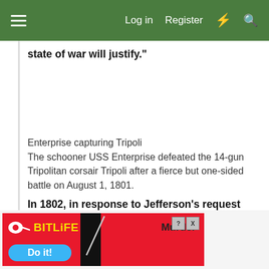≡  Log in  Register  ⚡  🔍
state of war will justify."
Enterprise capturing Tripoli
The schooner USS Enterprise defeated the 14-gun Tripolitan corsair Tripoli after a fierce but one-sided battle on August 1, 1801.
In 1802, in response to Jefferson's request for authority to deal with the pirates, Congress passed "An act for the Protection of Commerce and seamen of the United States against the Tripolitan
[Figure (screenshot): BitLife advertisement banner with red background, showing 'Murder Do it!' promotional content]